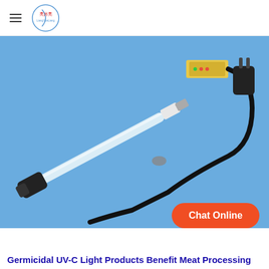亮月亮 LiangYueLiang logo and navigation
[Figure (photo): UV-C germicidal lamp with black end cap and power cable with plug on blue background]
Chat Online
Germicidal UV-C Light Products Benefit Meat Processing